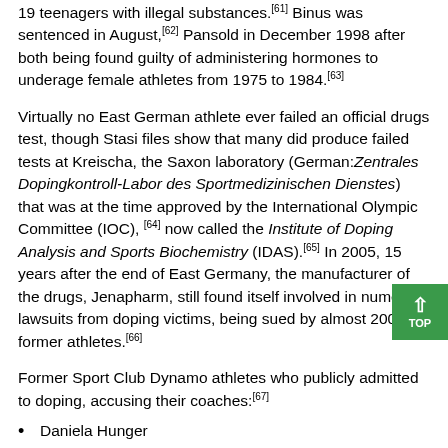19 teenagers with illegal substances.[61] Binus was sentenced in August,[62] Pansold in December 1998 after both being found guilty of administering hormones to underage female athletes from 1975 to 1984.[63]
Virtually no East German athlete ever failed an official drugs test, though Stasi files show that many did produce failed tests at Kreischa, the Saxon laboratory (German:Zentrales Dopingkontroll-Labor des Sportmedizinischen Dienstes) that was at the time approved by the International Olympic Committee (IOC),[64] now called the Institute of Doping Analysis and Sports Biochemistry (IDAS).[65] In 2005, 15 years after the end of East Germany, the manufacturer of the drugs, Jenapharm, still found itself involved in numerous lawsuits from doping victims, being sued by almost 200 former athletes.[66]
Former Sport Club Dynamo athletes who publicly admitted to doping, accusing their coaches:[67]
Daniela Hunger
Andrea Pollack